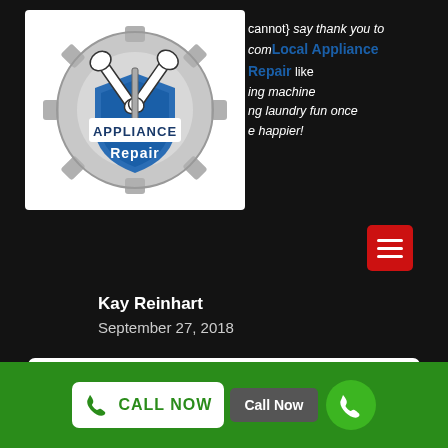[Figure (logo): Appliance Repair logo with wrenches and screwdriver on a gear background, text reads 'APPLIANCE Repair']
{cannot} say thank you to com Local Appliance Repair ing machine like ng laundry fun once e happier!
Kay Reinhart
September 27, 2018
Superb Technicians
★★★★★
CALL NOW  Call Now